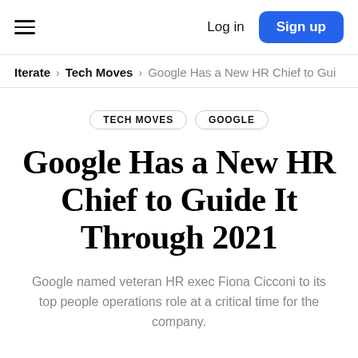Log in  Sign up
Iterate > Tech Moves > Google Has a New HR Chief to Gui
TECH MOVES  GOOGLE
Google Has a New HR Chief to Guide It Through 2021
Google named veteran HR exec Fiona Cicconi to its top people operations role at a critical time for the company.